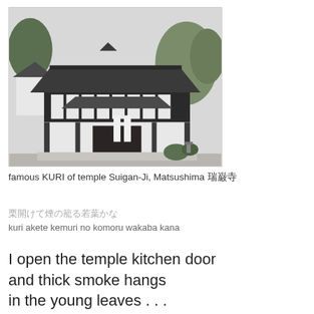[Figure (photo): Photograph of the famous KURI (kitchen/living quarters) building of temple Suigan-Ji in Matsushima, showing traditional Japanese architecture with a black and white timber-framed facade, tiered roofline, and surrounding garden trees.]
famous KURI of temple Suigan-Ji, Matsushima 瑞巌寺
栗開けて煙の籠る若葉かな
kuri akete kemuri no komoru wakaba kana
I open the temple kitchen door
and thick smoke hangs
in the young leaves . . .